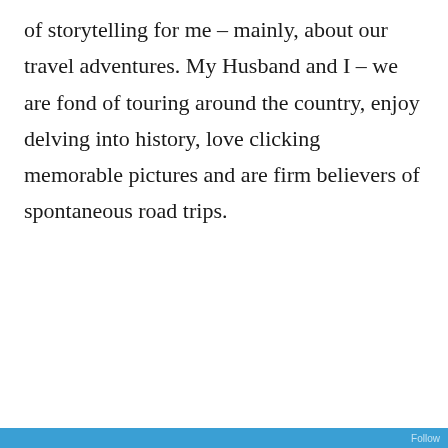of storytelling for me – mainly, about our travel adventures. My Husband and I – we are fond of touring around the country, enjoy delving into history, love clicking memorable pictures and are firm believers of spontaneous road trips.
[Figure (screenshot): WordPress Follow button with follower count 1,166 and a cookie consent banner overlay with Privacy & Cookies notice, Cookie Policy link, close button, and Close and accept button.]